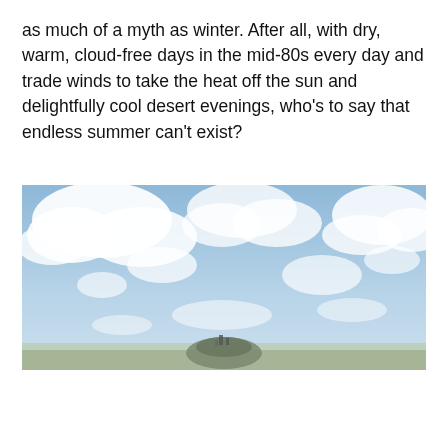as much of a myth as winter. After all, with dry, warm, cloud-free days in the mid-80s every day and trade winds to take the heat off the sun and delightfully cool desert evenings, who's to say that endless summer can't exist?
[Figure (photo): A wide panoramic photo showing a blue sky with scattered white clouds. At the bottom center of the image, a small hill or mesa with some structures is visible against the sky.]